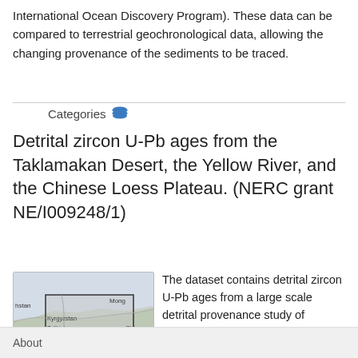International Ocean Discovery Program). These data can be compared to terrestrial geochronological data, allowing the changing provenance of the sediments to be traced.
Categories
Detrital zircon U-Pb ages from the Taklamakan Desert, the Yellow River, and the Chinese Loess Plateau. (NERC grant NE/I009248/1)
[Figure (map): A map showing Central Asia including regions labeled hstan, Kyrgyzstan, Tajikistan, istan, Mong, Chi with a rectangular selection box overlaid.]
The dataset contains detrital zircon U-Pb ages from a large scale detrital provenance study of modern and recent sand and silt from the Chinese Loess Plateau (CLP) and its proposed sources in the Yellow River, its Tibetan headwaters, and the Taklamakan Desert, which lies mainly in
About